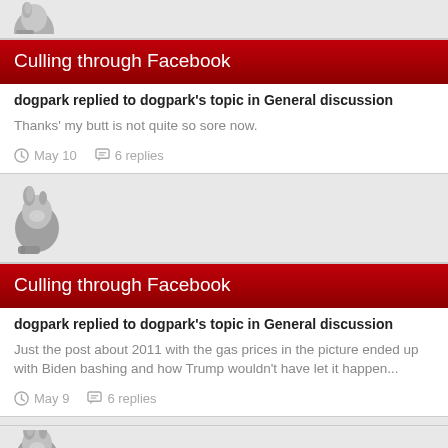[Figure (illustration): User avatar - greyscale dog profile picture (partial, top of page)]
Culling through Facebook
dogpark replied to dogpark's topic in General discussion
Thanks' my butt is not quite so sore now.
May 10   6 replies
[Figure (illustration): User avatar - greyscale dog profile picture]
Culling through Facebook
dogpark replied to dogpark's topic in General discussion
Just the post about 2011 with the gas prices in the picture ended up with Biden bashing and how Trump wouldn't have let it happen...
May 9   6 replies
[Figure (illustration): User avatar - greyscale dog profile picture (partial, bottom of page)]